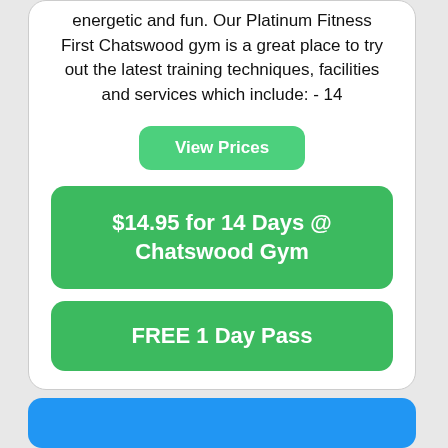energetic and fun. Our Platinum Fitness First Chatswood gym is a great place to try out the latest training techniques, facilities and services which include: - 14
View Prices
$14.95 for 14 Days @ Chatswood Gym
FREE 1 Day Pass